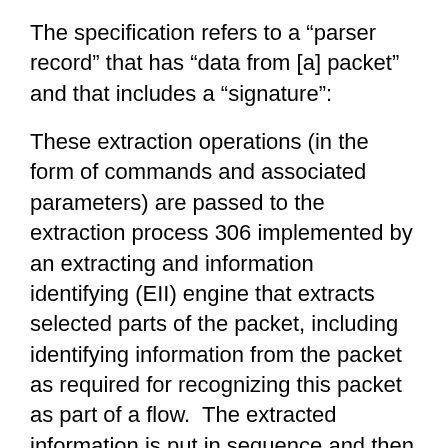The specification refers to a “parser record” that has “data from [a] packet” and that includes a “signature”:
These extraction operations (in the form of commands and associated parameters) are passed to the extraction process 306 implemented by an extracting and information identifying (EII) engine that extracts selected parts of the packet, including identifying information from the packet as required for recognizing this packet as part of a flow.  The extracted information is put in sequence and then processed in block 312 to build a unique flow signature (also called a “key”) for this flow.  A flow signature depends on the protocols used in the packet.  For some protocols, the extracted components may include source and destination